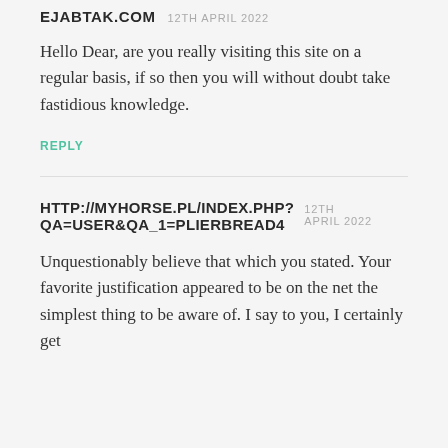EJABTAK.COM  12TH APRIL 2022
Hello Dear, are you really visiting this site on a regular basis, if so then you will without doubt take fastidious knowledge.
REPLY
HTTP://MYHORSE.PL/INDEX.PHP?QA=USER&QA_1=PLIERBREAD4  12TH APRIL 2022
Unquestionably believe that which you stated. Your favorite justification appeared to be on the net the simplest thing to be aware of. I say to you, I certainly get